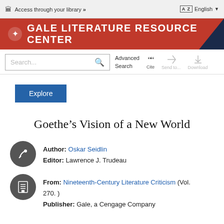Access through your library »    AZ English
[Figure (logo): Gale Literature Resource Center banner logo with red background and white text]
[Figure (screenshot): Search bar with Advanced Search, Cite, Send to, Download toolbar icons]
Explore
Goethe’s Vision of a New World
Author: Oskar Seidlin
Editor: Lawrence J. Trudeau
From: Nineteenth-Century Literature Criticism (Vol. 270. )
Publisher: Gale, a Cengage Company